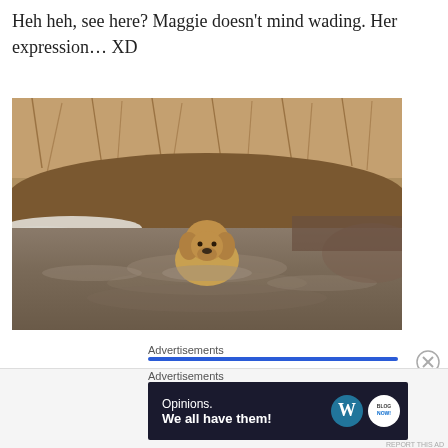Heh heh, see here? Maggie doesn't mind wading. Her expression... XD
[Figure (photo): A golden/yellow Labrador dog wading through a shallow muddy creek or stream, facing the camera. The background shows a winter or early spring riverbank with dead grass, mud, and patches of snow along the edges. The water is brown and muddy with ripples around the dog.]
Advertisements
Advertisements
[Figure (other): Advertisement banner with dark navy background showing text 'Opinions. We all have them!' with WordPress logo and another circular logo on the right side.]